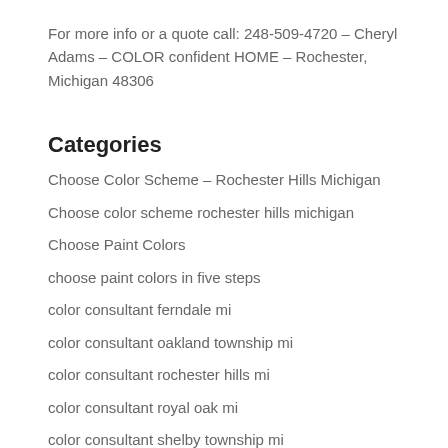For more info or a quote call: 248-509-4720 – Cheryl Adams – COLOR confident HOME – Rochester, Michigan 48306
Categories
Choose Color Scheme – Rochester Hills Michigan
Choose color scheme rochester hills michigan
Choose Paint Colors
choose paint colors in five steps
color consultant ferndale mi
color consultant oakland township mi
color consultant rochester hills mi
color consultant royal oak mi
color consultant shelby township mi
color consultant west bloomfield mi